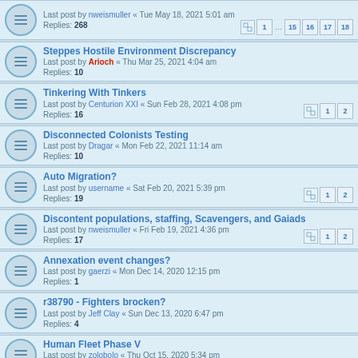Last post by nweismuller « Tue May 18, 2021 5:01 am
Replies: 268
Pages: 1 ... 15 16 17 18
Steppes Hostile Environment Discrepancy
Last post by Arioch « Thu Mar 25, 2021 4:04 am
Replies: 10
Tinkering With Tinkers
Last post by Centurion XXI « Sun Feb 28, 2021 4:08 pm
Replies: 16
Pages: 1 2
Disconnected Colonists Testing
Last post by Dragar « Mon Feb 22, 2021 11:14 am
Replies: 10
Auto Migration?
Last post by username « Sat Feb 20, 2021 5:39 pm
Replies: 19
Pages: 1 2
Discontent populations, staffing, Scavengers, and Gaiads
Last post by nweismuller « Fri Feb 19, 2021 4:36 pm
Replies: 17
Pages: 1 2
Annexation event changes?
Last post by gaerzi « Mon Dec 14, 2020 12:15 pm
Replies: 1
r38790 - Fighters brocken?
Last post by Jeff Clay « Sun Dec 13, 2020 6:47 pm
Replies: 4
Human Fleet Phase V
Last post by zolobolo « Thu Oct 15, 2020 5:34 pm
Replies: 5
4k Resolution
Last post by zolobolo « Mon Aug 03, 2020 2:03 pm
Replies: 22